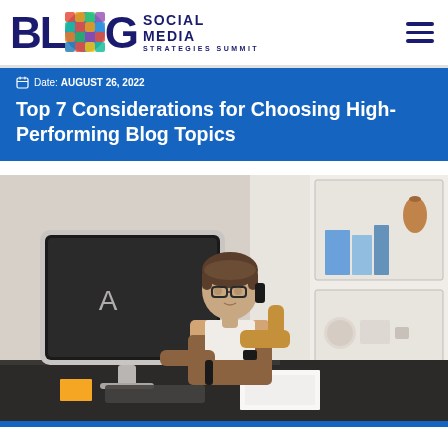Blog Social Media Strategies Summit
Date: AUGUST 26, 2022
Top 7 Considerations for Choosing High-Performing Blog Topics
[Figure (photo): Woman with short brown hair and glasses sitting at a desk with an Apple iMac computer, talking on a phone while holding a pen, with shelves in the background containing books and decorative items.]